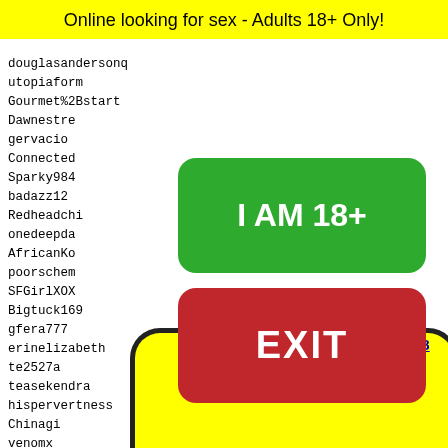Online looking for sex - Adults 18+ Only!
douglasandersonq
utopiaform
Gourmet%2Bstart
Dawnestre
gervacio
Connected
Sparky984
badazz12
Redheadchi
onedeepda
AfricanKo
poorschem
SFGirlXOX
Bigtuck169
gfera777
erinelizabeth
te2527a
teasekendra
hispervertness
Chinagi
venomx
samyon
kammi
adhamf
serge j
[Figure (other): Green button with text I AM 18+]
[Figure (other): Red button with text EXIT]
615 616 617 618 619
[Figure (other): Yellow rounded rectangle with dot pattern (Snapchat ghost icon)]